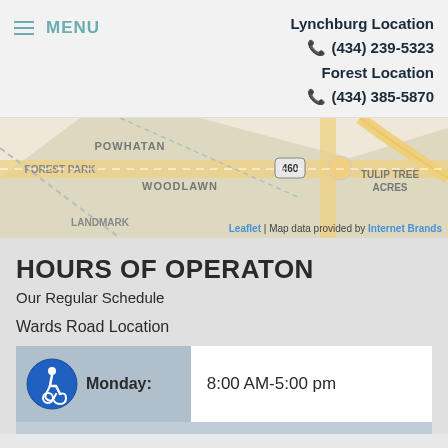MENU
Lynchburg Location
☎ (434) 239-5323
Forest Location
☎ (434) 385-5870
[Figure (map): Street map showing Powhatan, Forest Park, Woodlawn, Landmark, Tulip Tree Acres neighborhoods with route 460. Leaflet | Map data provided by Internet Brands]
HOURS OF OPERATON
Our Regular Schedule
Wards Road Location
| Day | Hours |
| --- | --- |
| Monday: | 8:00 AM-5:00 pm |